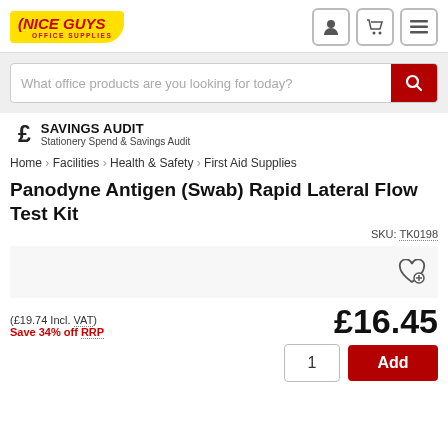[Figure (logo): Nice Guys Office Supplies logo on yellow background]
What office products are you looking for today?
£ SAVINGS AUDIT
Stationery Spend & Savings Audit
Home > Facilities > Health & Safety > First Aid Supplies
Panodyne Antigen (Swab) Rapid Lateral Flow Test Kit
SKU: TK0198
(£19.74 Incl. VAT)
Save 34% off RRP
£16.45